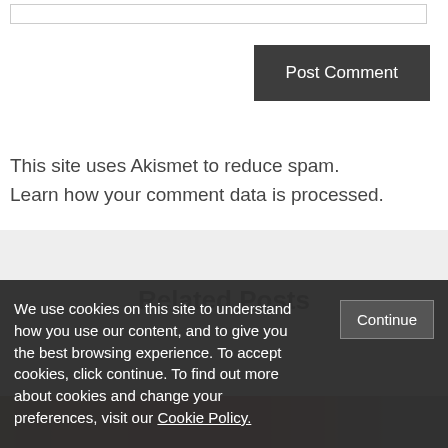This site uses Akismet to reduce spam. Learn how your comment data is processed.
Related Posts
We use cookies on this site to understand how you use our content, and to give you the best browsing experience. To accept cookies, click continue. To find out more about cookies and change your preferences, visit our Cookie Policy.